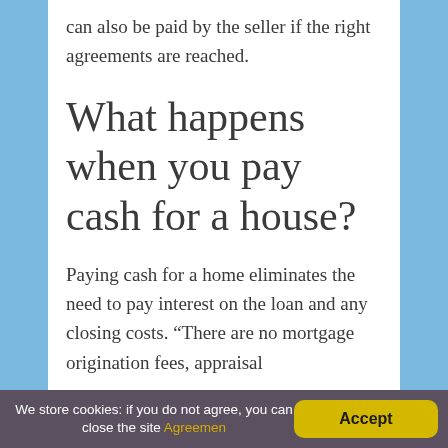can also be paid by the seller if the right agreements are reached.
What happens when you pay cash for a house?
Paying cash for a home eliminates the need to pay interest on the loan and any closing costs. “There are no mortgage origination fees, appraisal
We store cookies: if you do not agree, you can close the site Agreemen   Accept